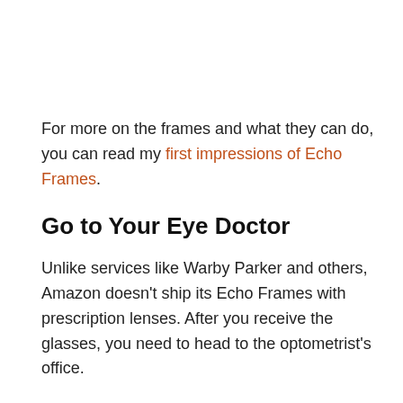For more on the frames and what they can do, you can read my first impressions of Echo Frames.
Go to Your Eye Doctor
Unlike services like Warby Parker and others, Amazon doesn't ship its Echo Frames with prescription lenses. After you receive the glasses, you need to head to the optometrist's office.
If you already have a prescription, then you typically can have them transfer that into the frames. In my case, they needed to see the glasses first to be sure they could do it. The frame style is fairly popular, so there shouldn't be